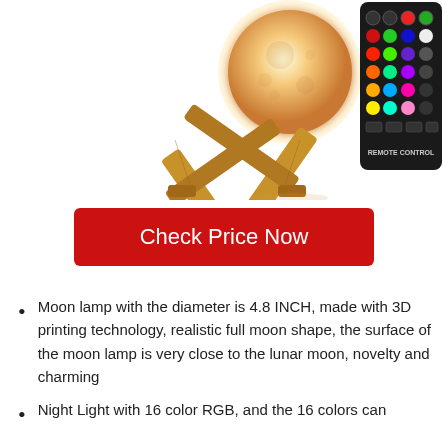[Figure (photo): Moon lamp on a wooden X-shaped stand, glowing warm white/orange, with a black remote control shown to the right featuring colored buttons and labeled 'REMOTE CONTROL']
Check Price Now
Moon lamp with the diameter is 4.8 INCH, made with 3D printing technology, realistic full moon shape, the surface of the moon lamp is very close to the lunar moon, novelty and charming
Night Light with 16 color RGB, and the 16 colors can